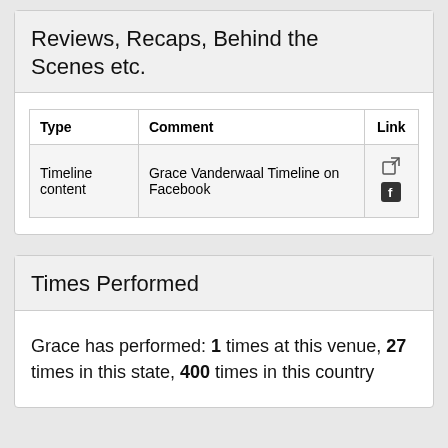Reviews, Recaps, Behind the Scenes etc.
| Type | Comment | Link |
| --- | --- | --- |
| Timeline content | Grace Vanderwaal Timeline on Facebook | [external link icon] [facebook icon] |
Times Performed
Grace has performed: 1 times at this venue, 27 times in this state, 400 times in this country